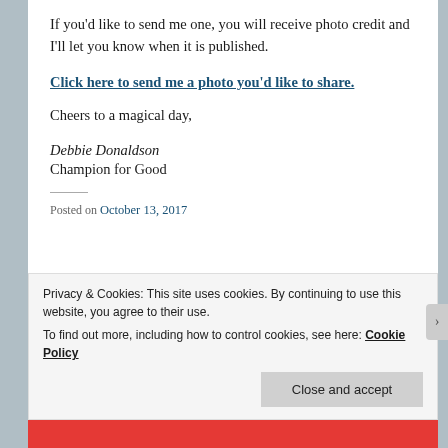If you'd like to send me one, you will receive photo credit and I'll let you know when it is published.
Click here to send me a photo you'd like to share.
Cheers to a magical day,
Debbie Donaldson
Champion for Good
Posted on October 13, 2017
Privacy & Cookies: This site uses cookies. By continuing to use this website, you agree to their use.
To find out more, including how to control cookies, see here: Cookie Policy
Close and accept